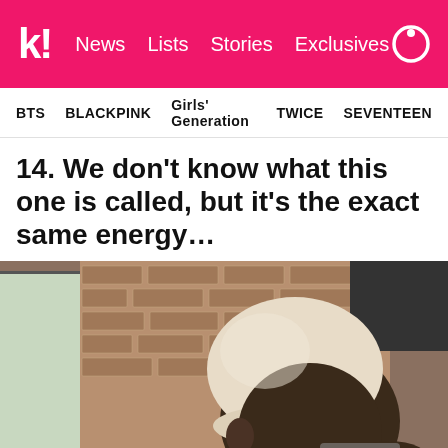k! News Lists Stories Exclusives
BTS BLACKPINK Girls' Generation TWICE SEVENTEEN
14. We don't know what this one is called, but it's the exact same energy…
[Figure (photo): Person wearing a cream/beige cloth cap, standing in front of a brick wall interior, touching their face.]